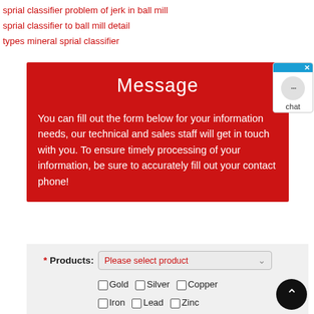sprial classifier problem of jerk in ball mill
sprial classifier to ball mill detail
types mineral sprial classifier
Message
You can fill out the form below for your information needs, our technical and sales staff will get in touch with you. To ensure timely processing of your information, be sure to accurately fill out your contact phone!
| Field | Value |
| --- | --- |
| * Products: | Please select product |
|  | Gold, Silver, Copper, Iron, Lead, Zinc, Molybdenum, Chrome, Manganese, Nickel, Tin |